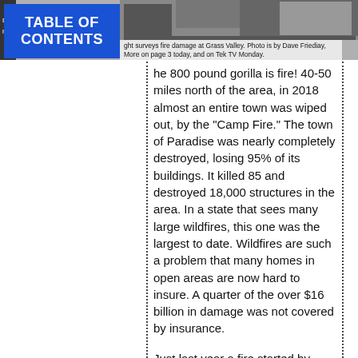[Figure (photo): Black and white photo showing fire damage survey at Grass Valley]
TABLE OF CONTENTS
ght surveys fire damage at Grass Valley. Photo is by Dave Friediay. More on page 3 today, and on Tek TV Monday.
he 800 pound gorilla is fire! 40-50 miles north of the area, in 2018 almost an entire town was wiped out, by the "Camp Fire." The town of Paradise was nearly completely destroyed, losing 95% of its buildings. It killed 85 and destroyed 18,000 structures in the area. In a state that sees many large wildfires, this one was the largest to date. Wildfires are such a problem that many homes in open areas are now hard to insure. A quarter of the over $16 billion in damage was not covered by insurance.
Just last year a fire started by lightning lapping at the Nevada City limits, while it burned about 800 acres it destroyed 21 structures and took 14,000 firefighters to put out. There is one area much closer to the center of the two towns that pose a high fire risk.
Update What was known as the Caldor fire, just recently extinguished, burned 222,000 acres, and came a few miles from Lake Tahoe. It destroyed over 1000 buildings. It started about 50 miles southeast of Grass Valley. But another much more massive fire, the Dixie, this one 50 miles north of Grass